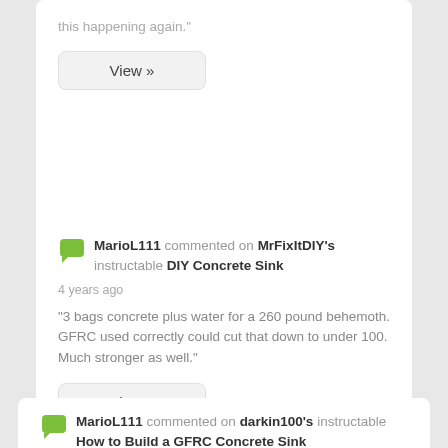this happening again.”
View »
MarioL111 commented on MrFixItDIY's instructable DIY Concrete Sink
4 years ago
“3 bags concrete plus water for a 260 pound behemoth. GFRC used correctly could cut that down to under 100. Much stronger as well.”
View »
MarioL111 commented on darkin100's instructable How to Build a GFRC Concrete Sink